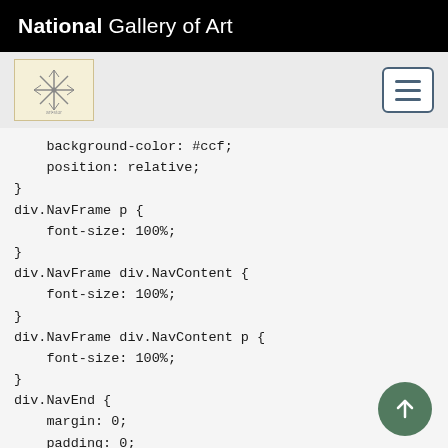National Gallery of Art
[Figure (screenshot): Navigation bar with a decorative snowflake/asterisk logo on left and hamburger menu button on right, on gray background]
background-color: #ccf;
    position: relative;
}
div.NavFrame p {
    font-size: 100%;
}
div.NavFrame div.NavContent {
    font-size: 100%;
}
div.NavFrame div.NavContent p {
    font-size: 100%;
}
div.NavEnd {
    margin: 0;
    padding: 0;
    line-height: 1px;
    clear: both;